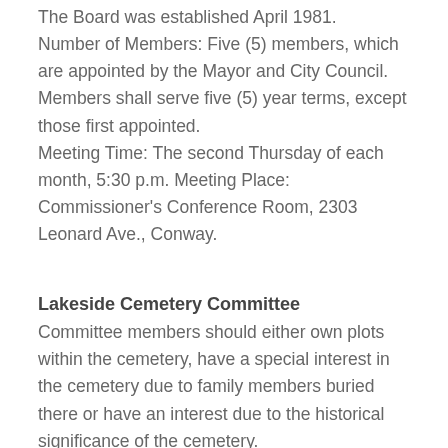The Board was established April 1981. Number of Members: Five (5) members, which are appointed by the Mayor and City Council. Members shall serve five (5) year terms, except those first appointed. Meeting Time: The second Thursday of each month, 5:30 p.m. Meeting Place: Commissioner's Conference Room, 2303 Leonard Ave., Conway.
Lakeside Cemetery Committee
Committee members should either own plots within the cemetery, have a special interest in the cemetery due to family members buried there or have an interest due to the historical significance of the cemetery.
Cemetery Hours: During the months of November through March, the Cemetery gates will be open from 6 a.m. to 6 p.m. and from April through October the